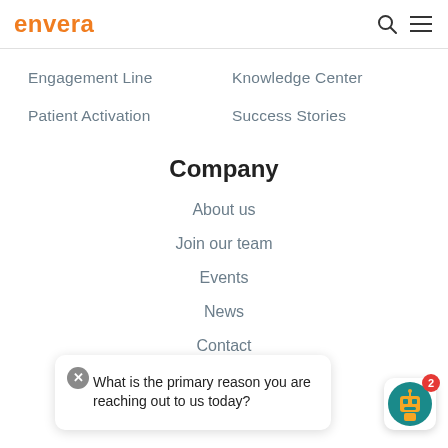envera
Engagement Line
Knowledge Center
Patient Activation
Success Stories
Company
About us
Join our team
Events
News
Contact
What is the primary reason you are reaching out to us today?